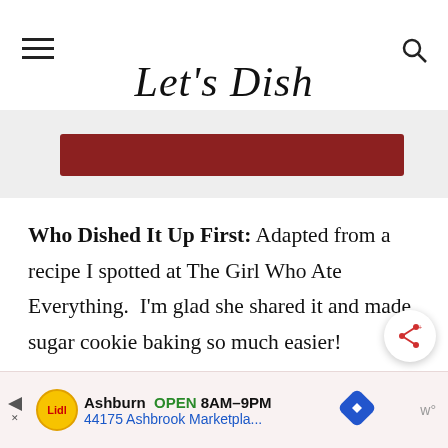Let's Dish
[Figure (other): Red horizontal banner bar on a light gray background]
Who Dished It Up First: Adapted from a recipe I spotted at The Girl Who Ate Everything.  I'm glad she shared it and made sugar cookie baking so much easier!
[Figure (other): Share button icon (circular white button with share symbol)]
[Figure (other): Advertisement bar: Lidl logo, Ashburn OPEN 8AM-9PM, 44175 Ashbrook Marketpla...]